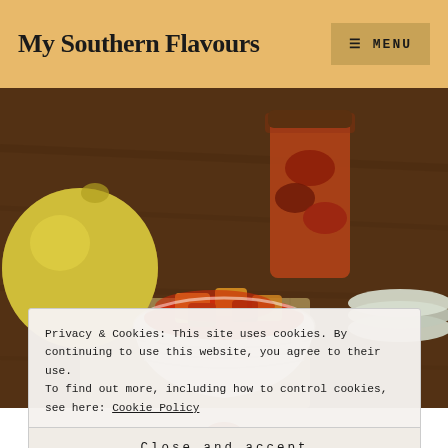My Southern Flavours
[Figure (photo): Food photo showing a white ramekin bowl filled with chunks of food in red tomato sauce, a large yellow lemon/quince in the background left, a jar of preserved food behind, and stacked plates to the right, all on a wooden table surface.]
Privacy & Cookies: This site uses cookies. By continuing to use this website, you agree to their use.
To find out more, including how to control cookies, see here: Cookie Policy
Close and accept